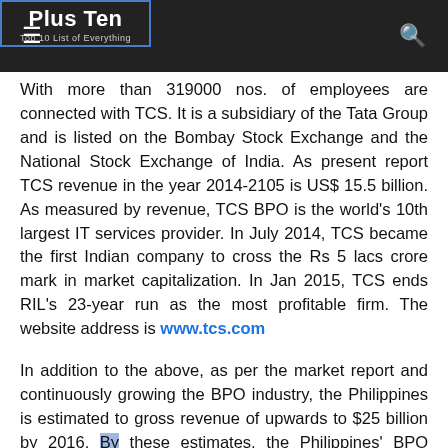Plus Ten — Top 10 List of Everything
With more than 319000 nos. of employees are connected with TCS. It is a subsidiary of the Tata Group and is listed on the Bombay Stock Exchange and the National Stock Exchange of India. As present report TCS revenue in the year 2014-2105 is US$ 15.5 billion. As measured by revenue, TCS BPO is the world's 10th largest IT services provider. In July 2014, TCS became the first Indian company to cross the Rs 5 lacs crore mark in market capitalization. In Jan 2015, TCS ends RIL's 23-year run as the most profitable firm. The website address is www.tcs.com
In addition to the above, as per the market report and continuously growing the BPO industry, the Philippines is estimated to gross revenue of upwards to $25 billion by 2016. By these estimates, the Philippines' BPO industry will account for approximately 10 percent of